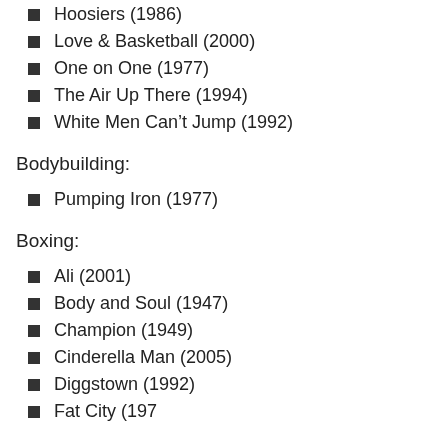Hoosiers (1986)
Love & Basketball (2000)
One on One (1977)
The Air Up There (1994)
White Men Can't Jump (1992)
Bodybuilding:
Pumping Iron (1977)
Boxing:
Ali (2001)
Body and Soul (1947)
Champion (1949)
Cinderella Man (2005)
Diggstown (1992)
Fat City (1972)